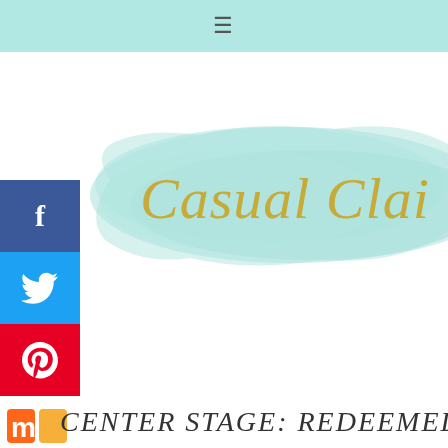≡
[Figure (logo): Casual Claire blog logo: cursive gold text 'Casual Claire' on a teal watercolor paint stroke background]
[Figure (infographic): Social media share sidebar with Facebook (blue), Twitter (blue), Pinterest (red) buttons and Mixcloud icon, plus a left-arrow toggle button]
CENTER STAGE: REDEEMED